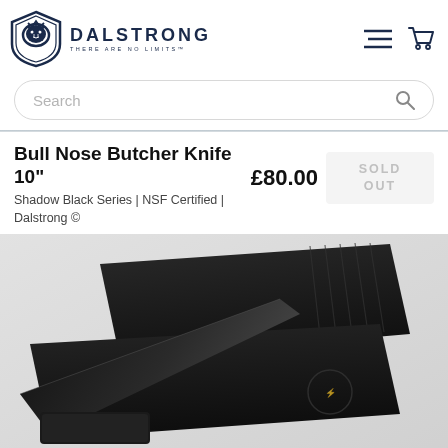[Figure (logo): Dalstrong lion shield logo with brand name DALSTRONG and tagline THERE ARE NO LIMITS]
Bull Nose Butcher Knife 10"
Shadow Black Series | NSF Certified | Dalstrong ©
£80.00
SOLD OUT
[Figure (photo): Black Dalstrong Bull Nose Butcher Knife displayed on black packaging boxes against a light grey background]